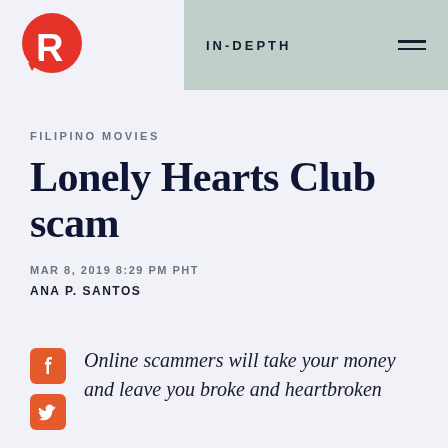[Figure (logo): Rappler logo — red R in a speech bubble circle]
IN-DEPTH
FILIPINO MOVIES
Lonely Hearts Club scam
MAR 8, 2019 8:29 PM PHT
ANA P. SANTOS
Online scammers will take your money and leave you broke and heartbroken